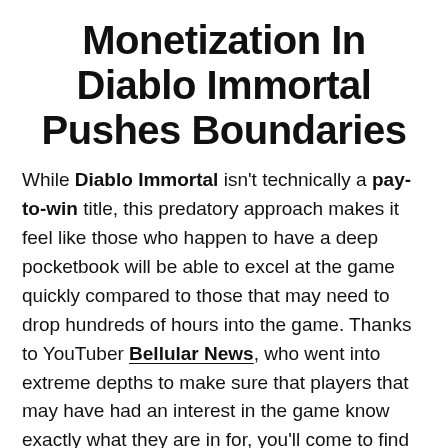Monetization In Diablo Immortal Pushes Boundaries
While Diablo Immortal isn't technically a pay-to-win title, this predatory approach makes it feel like those who happen to have a deep pocketbook will be able to excel at the game quickly compared to those that may need to drop hundreds of hours into the game. Thanks to YouTuber Bellular News, who went into extreme depths to make sure that players that may have had an interest in the game know exactly what they are in for, you'll come to find that it seems that Diablo Immortal is not the type of game made for the fans, but rather, a quick way to turn a few bucks.